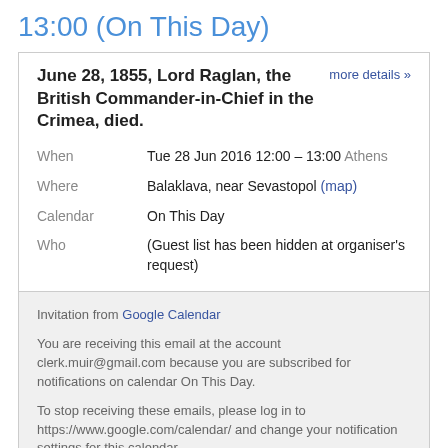13:00 (On This Day)
June 28, 1855, Lord Raglan, the British Commander-in-Chief in the Crimea, died. more details »
When: Tue 28 Jun 2016 12:00 – 13:00 Athens
Where: Balaklava, near Sevastopol (map)
Calendar: On This Day
Who: (Guest list has been hidden at organiser's request)
Invitation from Google Calendar
You are receiving this email at the account clerk.muir@gmail.com because you are subscribed for notifications on calendar On This Day.
To stop receiving these emails, please log in to https://www.google.com/calendar/ and change your notification settings for this calendar.
Forwarding this invitation could allow any recipient to modify your RSVP response. Learn More.
George William Muir R.N. at 28.6.16 – No comments: